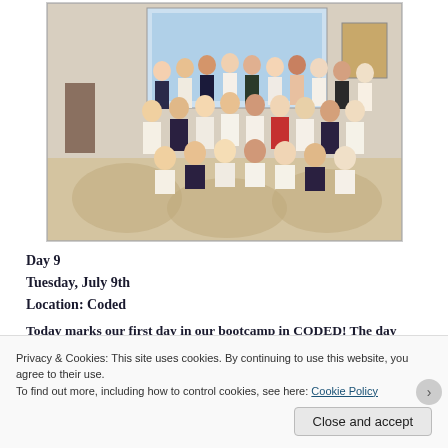[Figure (photo): Group photo of approximately 25-30 students and staff posing together in a conference hall with a projector screen in the background. They are arranged in rows, some standing and some sitting/kneeling on the floor.]
Day 9
Tuesday, July 9th
Location: Coded
Today marks our first day in our bootcamp in CODED! The day went in a very interesting way, considering that most of the students were not familiar with coding and technical work. The
Privacy & Cookies: This site uses cookies. By continuing to use this website, you agree to their use.
To find out more, including how to control cookies, see here: Cookie Policy